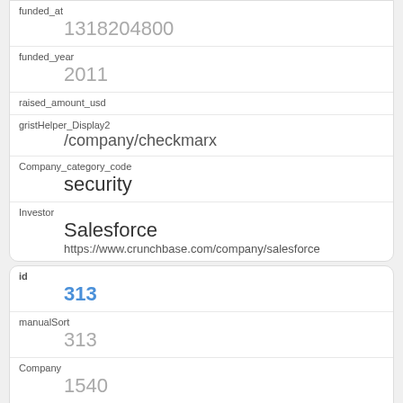funded_at
1318204800
funded_year
2011
raised_amount_usd
gristHelper_Display2
/company/checkmarx
Company_category_code
security
Investor
Salesforce
https://www.crunchbase.com/company/salesforce
id
313
manualSort
313
Company
1540
investor_permalink